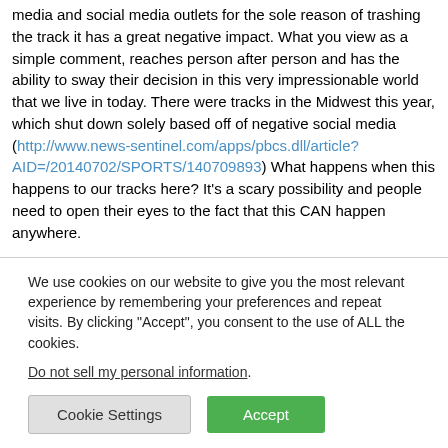media and social media outlets for the sole reason of trashing the track it has a great negative impact. What you view as a simple comment, reaches person after person and has the ability to sway their decision in this very impressionable world that we live in today. There were tracks in the Midwest this year, which shut down solely based off of negative social media (http://www.news-sentinel.com/apps/pbcs.dll/article?AID=/20140702/SPORTS/140709893) What happens when this happens to our tracks here? It's a scary possibility and people need to open their eyes to the fact that this CAN happen anywhere.
We are lucky to have such great facilities such as the Waterford Speedbowl, Stafford Motor Speedway and Thompson Speedway Motorsports Park right here in our own back yard with such a deep rich history in the foundation of Short Track...
We use cookies on our website to give you the most relevant experience by remembering your preferences and repeat visits. By clicking "Accept", you consent to the use of ALL the cookies.
Do not sell my personal information.